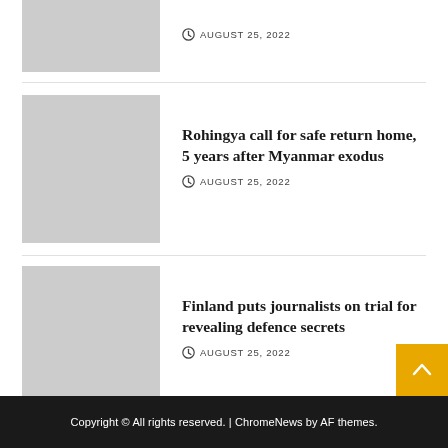[Figure (photo): Gray placeholder thumbnail image (partial, top of page)]
AUGUST 25, 2022
[Figure (photo): Gray placeholder thumbnail image for Rohingya article]
Rohingya call for safe return home, 5 years after Myanmar exodus
AUGUST 25, 2022
[Figure (photo): Gray placeholder thumbnail image for Finland article]
Finland puts journalists on trial for revealing defence secrets
AUGUST 25, 2022
Copyright © All rights reserved. | ChromeNews by AF themes.